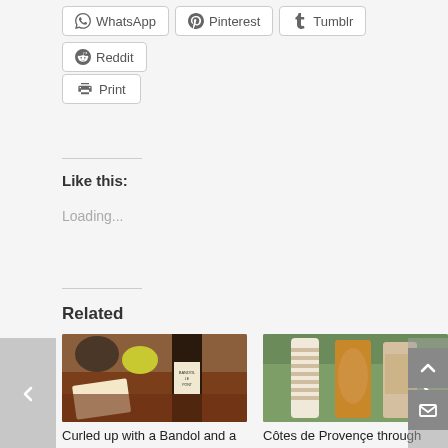WhatsApp
Pinterest
Tumblr
Reddit
Print
Like this:
Loading...
Related
[Figure (photo): Wine bottle (Bandol) on a table with food, related article image]
Curled up with a Bandol and a book – #Winophiles
February 15, 2019
In "Mourvedre"
[Figure (photo): Three decorative wine bottles with striped designs, rosé wine, related article image]
Côtes de Provençe through Rosé filled glasses #Winophiles
July 20, 2018
In "Wine Education"